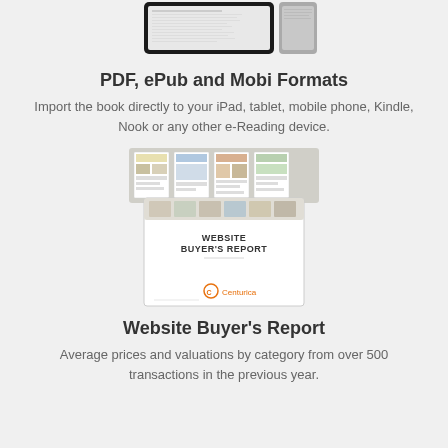[Figure (photo): Tablet/e-reader device showing document content, partially visible at top of page]
PDF, ePub and Mobi Formats
Import the book directly to your iPad, tablet, mobile phone, Kindle, Nook or any other e-Reading device.
[Figure (photo): Website Buyer's Report document cover showing multiple website screenshots, with Centurica logo and title 'WEBSITE BUYER'S REPORT']
Website Buyer's Report
Average prices and valuations by category from over 500 transactions in the previous year.